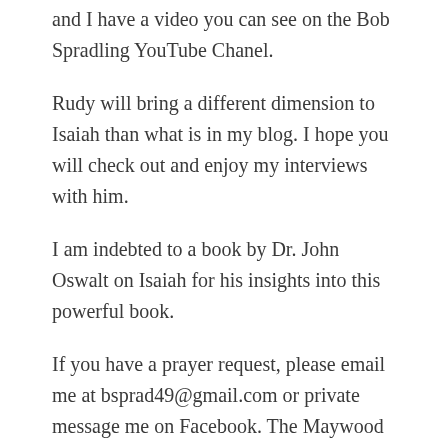and I have a video you can see on the Bob Spradling YouTube Chanel.
Rudy will bring a different dimension to Isaiah than what is in my blog. I hope you will check out and enjoy my interviews with him.
I am indebted to a book by Dr. John Oswalt on Isaiah for his insights into this powerful book.
If you have a prayer request, please email me at bsprad49@gmail.com or private message me on Facebook. The Maywood Baptist prayer team will pray for you.
Share this: